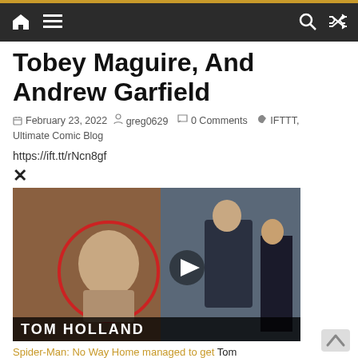Navigation bar with home, menu, search, and shuffle icons
Tobey Maguire, And Andrew Garfield
February 23, 2022  greg0629  0 Comments  IFTTT, Ultimate Comic Blog
https://ift.tt/rNcn8gf
×
[Figure (screenshot): Video thumbnail showing Tom Holland in a red circle on the left side and a man in a suit on the right, with a play button in the center and 'TOM HOLLAND' text at the bottom]
Spider-Man: No Way Home managed to get Tom